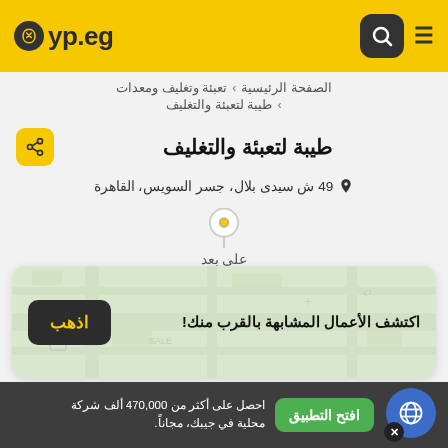yp.eg
الصفحة الرئيسية › تعبئة وتغليف ومعدات › طيبة لتعبئة والتغليف
طيبة لتعبئة والتغليف
49 ش سيدى بلال، جسر السويس، القاهرة
على بعد
اكتشف الأعمال المشابهة بالقرب منك!
اذهب
احصل على أكثر من 470,000 ألف شركة محلية في جيبك، مجاناً.
افتح التطبيق